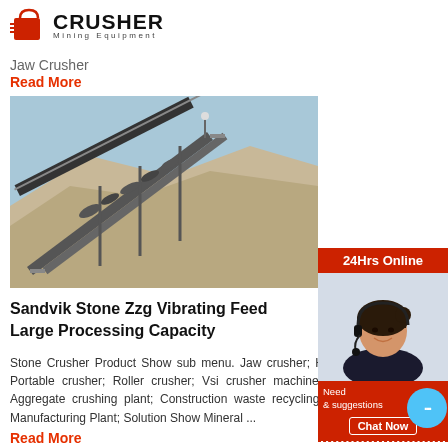[Figure (logo): Crusher Mining Equipment logo with red shopping bag icon and bold CRUSHER text]
Jaw Crusher
Read More
[Figure (photo): Conveyor belt carrying crushed stone at a mining/quarry site with large stone pile in background]
Sandvik Stone Zzg Vibrating Feed Large Processing Capacity
Stone Crusher Product Show sub menu. Jaw crusher; Hammer crusher; Impact crusher; Portable crusher; Roller crusher; Vsi crusher machine; Stone Plant Show sub menu. Aggregate crushing plant; Construction waste recycling plant; Mineral Ore Plant; Sand Manufacturing Plant; Solution Show Mineral ...
Read More
[Figure (infographic): Right sidebar with 24Hrs Online label, photo of woman with headset, Need & suggestions text, Chat Now button, Enquiry section, and email limingjlmofen@sina.com]